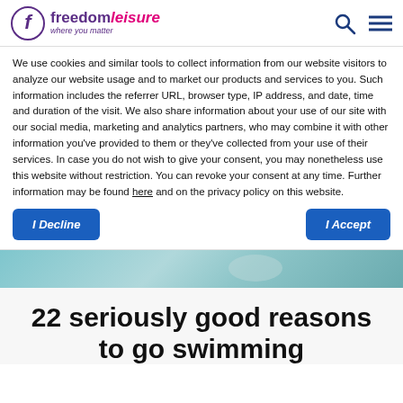freedomleisure where you matter
We use cookies and similar tools to collect information from our website visitors to analyze our website usage and to market our products and services to you. Such information includes the referrer URL, browser type, IP address, and date, time and duration of the visit. We also share information about your use of our site with our social media, marketing and analytics partners, who may combine it with other information you've provided to them or they've collected from your use of their services. In case you do not wish to give your consent, you may nonetheless use this website without restriction. You can revoke your consent at any time. Further information may be found here and on the privacy policy on this website.
[Figure (screenshot): Two buttons: 'I Decline' on the left and 'I Accept' on the right, both styled as blue rounded rectangles with white italic bold text.]
[Figure (photo): Cropped swimming pool image showing a teal/blue water surface.]
22 seriously good reasons to go swimming